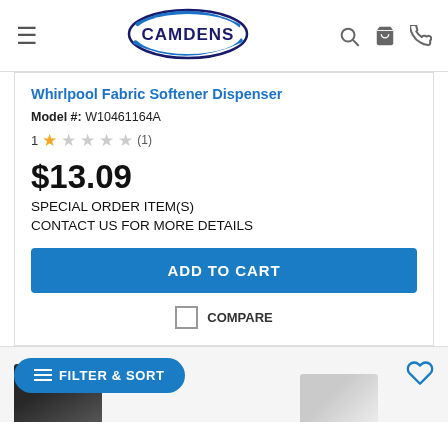[Figure (logo): Camdens logo - oval with blue swoosh and dark navy text 'CAMDENS' inside]
Whirlpool Fabric Softener Dispenser
Model #: W10461164A
1 star rating (1 review)
$13.09
SPECIAL ORDER ITEM(S)
CONTACT US FOR MORE DETAILS
ADD TO CART
COMPARE
FILTER & SORT